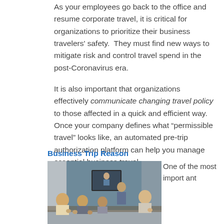As your employees go back to the office and resume corporate travel, it is critical for organizations to prioritize their business travelers’ safety.  They must find new ways to mitigate risk and control travel spend in the post-Coronavirus era.
It is also important that organizations effectively communicate changing travel policy to those affected in a quick and efficient way.   Once your company defines what “permissible travel” looks like, an automated pre-trip authorization platform can help you manage essential business travel.
Business Trip Reason
[Figure (photo): People sitting in a conference room applauding a presenter standing in front of a screen displaying a video call.]
One of the most import ant